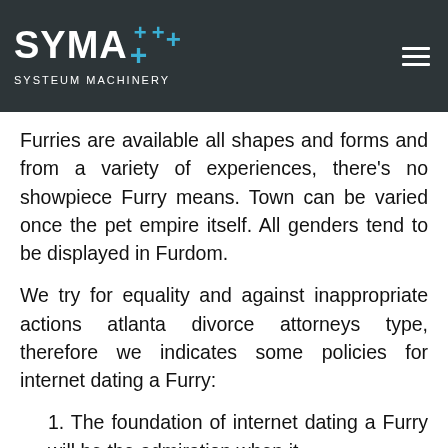SYMA+ SYSTEUM MACHINERY
Furries are available all shapes and forms and from a variety of experiences, there's no showpiece Furry means. Town can be varied once the pet empire itself. All genders tend to be displayed in Furdom.
We try for equality and against inappropriate actions atlanta divorce attorneys type, therefore we indicates some policies for internet dating a Furry:
1. The foundation of internet dating a Furry will be the admiration when it